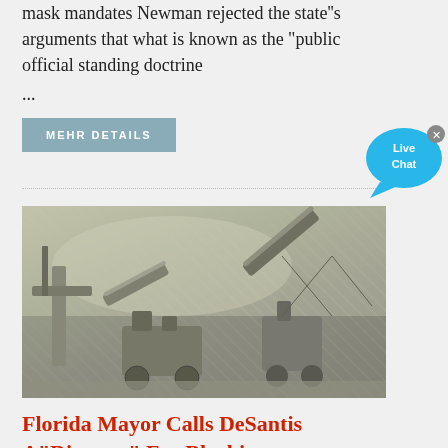mask mandates Newman rejected the state"s arguments that what is known as the "public official standing doctrine ...
MEHR DETAILS
[Figure (photo): Industrial mining machinery with conveyor belts and heavy equipment, dusty outdoor mine site]
Florida Mayor Calls DeSantis A "Dictator" For Blocking...